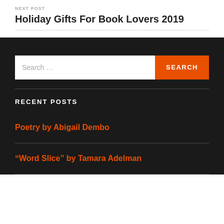NEXT POST
Holiday Gifts For Book Lovers 2019
[Figure (other): Search bar with input field and orange SEARCH button on dark background]
RECENT POSTS
Poetry by Abigail Dembo
“Word Slice” by Tamara Adelman